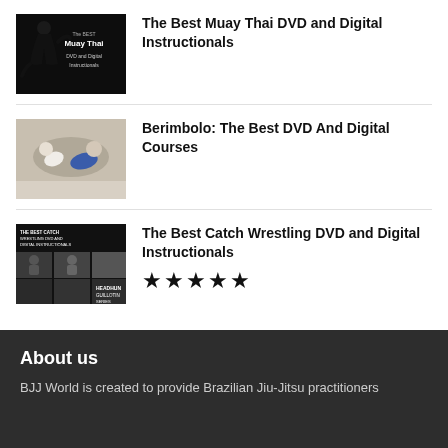The Best Muay Thai DVD and Digital Instructionals
Berimbolo: The Best DVD And Digital Courses
The Best Catch Wrestling DVD and Digital Instructionals ★★★★★
About us
BJJ World is created to provide Brazilian Jiu-Jitsu practitioners